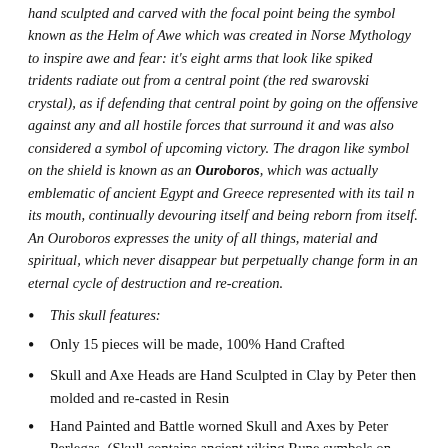hand sculpted and carved with the focal point being the symbol known as the Helm of Awe which was created in Norse Mythology to inspire awe and fear: it's eight arms that look like spiked tridents radiate out from a central point (the red swarovski crystal), as if defending that central point by going on the offensive against any and all hostile forces that surround it and was also considered a symbol of upcoming victory. The dragon like symbol on the shield is known as an Ouroboros, which was actually emblematic of ancient Egypt and Greece represented with its tail n its mouth, continually devouring itself and being reborn from itself. An Ouroboros expresses the unity of all things, material and spiritual, which never disappear but perpetually change form in an eternal cycle of destruction and re-creation.
This skull features:
Only 15 pieces will be made, 100% Hand Crafted
Skull and Axe Heads are Hand Sculpted in Clay by Peter then molded and re-casted in Resin
Hand Painted and Battle worned Skull and Axes by Peter Perlegas. (Skull contains ancient viking Rune symbols on